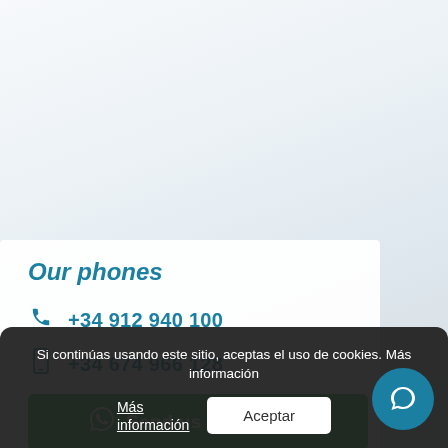Our phones
+34 912 940 100
+34 674 966 128
Send us a message
Si continúas usando este sitio, aceptas el uso de cookies. Más información
Aceptar